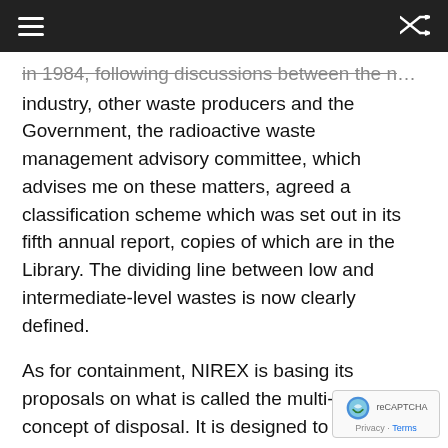≡  [shuffle icon]
in 1984, following discussions between the nuclear industry, other waste producers and the Government, the radioactive waste management advisory committee, which advises me on these matters, agreed a classification scheme which was set out in its fifth annual report, copies of which are in the Library. The dividing line between low and intermediate-level wastes is now clearly defined.
As for containment, NIREX is basing its proposals on what is called the multi-barrier concept of disposal. It is designed to minimise the return of radioactivity to man by using several different types of barrier, which include the geology of the site, the construction of the facility and the conditioning packaging of the waste. The waste is put in steel drums in sand and concrete. The drums are then